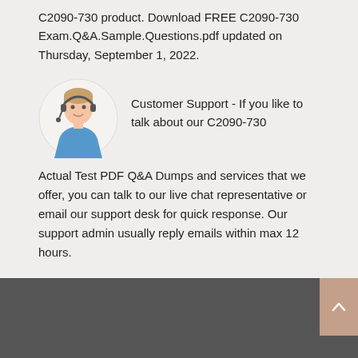C2090-730 product. Download FREE C2090-730 Exam.Q&A.Sample.Questions.pdf updated on Thursday, September 1, 2022.
[Figure (illustration): Customer support avatar icon: cartoon person with headset in a circle, blue shirt]
Customer Support - If you like to talk about our C2090-730 Actual Test PDF Q&A Dumps and services that we offer, you can talk to our live chat representative or email our support desk for quick response. Our support admin usually reply emails within max 12 hours.
ABOUT US   FAQ   SOCIAL NETWORK   NEW RELEASES